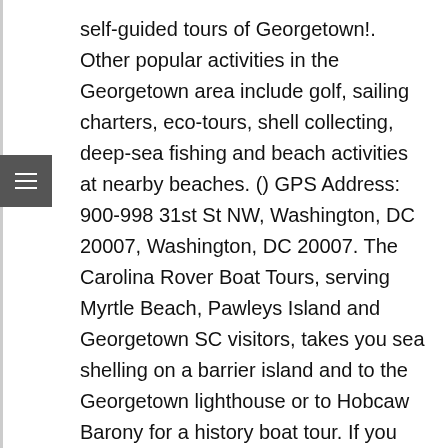self-guided tours of Georgetown!. Other popular activities in the Georgetown area include golf, sailing charters, eco-tours, shell collecting, deep-sea fishing and beach activities at nearby beaches. () GPS Address: 900-998 31st St NW, Washington, DC 20007, Washington, DC 20007. The Carolina Rover Boat Tours, serving Myrtle Beach, Pawleys Island and Georgetown SC visitors, takes you sea shelling on a barrier island and to the Georgetown lighthouse or to Hobcaw Barony for a history boat tour. If you want to tee up, try Wedgefield Plantation Golf Club and Heritage Club, which are less than 10 minutes from Georgetown. The neighboring areas of Pawley's Island, Murrell's Inlet, Litchfield Beach are also part of The Hammock Coast - sometimes overlooked because of their northern neighbor, Myrtle Beach. We encourage you to join our Mailing List to stay up to date with